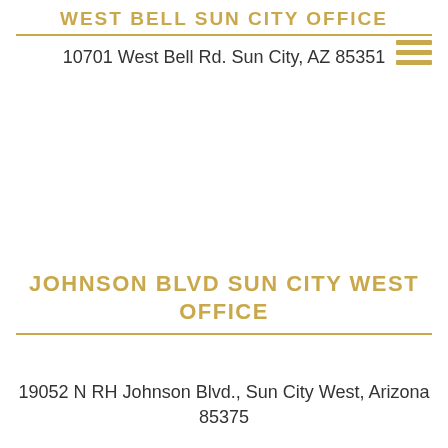WEST BELL SUN CITY OFFICE
10701 West Bell Rd. Sun City, AZ 85351
JOHNSON BLVD SUN CITY WEST OFFICE
19052 N RH Johnson Blvd., Sun City West, Arizona 85375